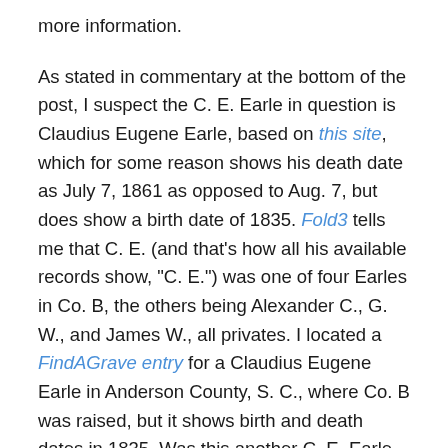more information.
As stated in commentary at the bottom of the post, I suspect the C. E. Earle in question is Claudius Eugene Earle, based on this site, which for some reason shows his death date as July 7, 1861 as opposed to Aug. 7, but does show a birth date of 1835. Fold3 tells me that C. E. (and that’s how all his available records show, “C. E.”) was one of four Earles in Co. B, the others being Alexander C., G. W., and James W., all privates. I located a FindAGrave entry for a Claudius Eugene Earle in Anderson County, S. C., where Co. B was raised, but it shows birth and death dates in 1835. Was this another C. E. Earle, or perhaps was it some convention to allow for the burial of a suicide within the churchyard? I don’t know.
As to whether or not whatever action Earle saw at Frist